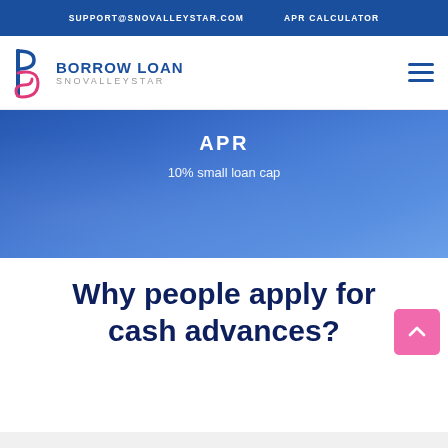SUPPORT@SNOVALLEYSTAR.COM   APR CALCULATOR
[Figure (logo): Borrow Loan Snovalleystar logo with stylized B icon in blue and pink]
[Figure (screenshot): Blue hero banner showing APR headline and '10% small loan cap' subtext]
Why people apply for cash advances?